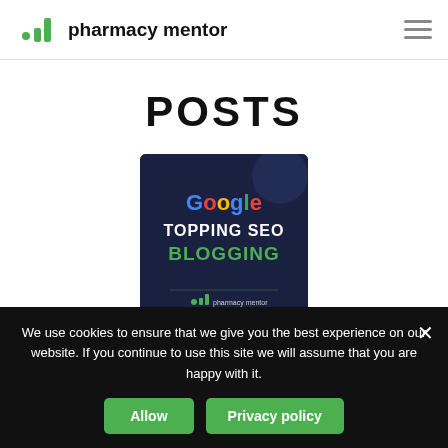pharmacy mentor
POSTS
[Figure (screenshot): Google Topping SEO Blogging thumbnail image with dark blue background, Google logo text in color, 'TOPPING SEO' in white bold, 'BLOGGING' in green bold, and pharmacy mentor branding at bottom]
CASE STUDIES
We use cookies to ensure that we give you the best experience on our website. If you continue to use this site we will assume that you are happy with it.